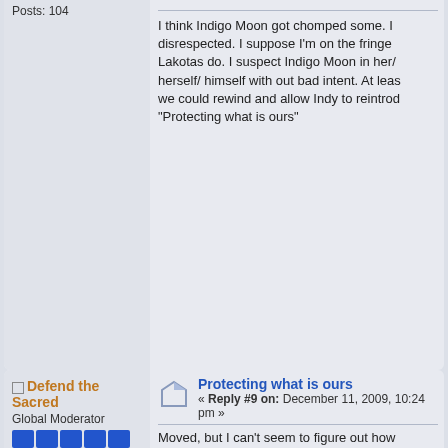Posts: 104
I think Indigo Moon got chomped some. I disrespected. I suppose I'm on the fringe Lakotas do. I suspect Indigo Moon in her/ herself/ himself with out bad intent. At leas we could rewind and allow Indy to reintrod "Protecting what is ours"
Defend the Sacred
Global Moderator
Posts: 3282
Protecting what is ours
« Reply #9 on: December 11, 2009, 10:24 pm »
Moved, but I can't seem to figure out how
Duct-taped it via editing post, though I thi
« Last Edit: July 19, 2014, 01:20:45 am by Kathr
Paul123
Posts: 148
Re: me
« Reply #10 on: December 12, 2009, 12:3 am »
Quote from: NDN_Outlaw on December 11, 2009